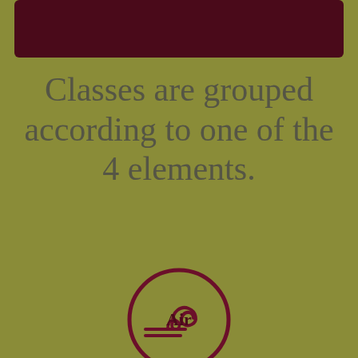[Figure (other): Dark maroon rounded rectangle banner at top]
Classes are grouped according to one of the 4 elements.
[Figure (illustration): Air element symbol: a circle with a wind/swirl icon inside, in dark maroon color]
Air